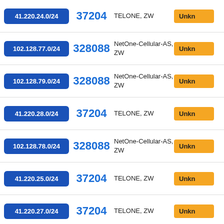| IP Range | ASN | Organization | Status |
| --- | --- | --- | --- |
| 41.220.24.0/24 | 37204 | TELONE, ZW | Unkn |
| 102.128.77.0/24 | 328088 | NetOne-Cellular-AS, ZW | Unkn |
| 102.128.79.0/24 | 328088 | NetOne-Cellular-AS, ZW | Unkn |
| 41.220.28.0/24 | 37204 | TELONE, ZW | Unkn |
| 102.128.78.0/24 | 328088 | NetOne-Cellular-AS, ZW | Unkn |
| 41.220.25.0/24 | 37204 | TELONE, ZW | Unkn |
| 41.220.27.0/24 | 37204 | TELONE, ZW | Unkn |